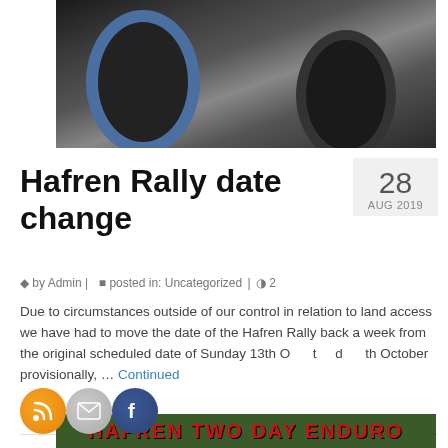[Figure (photo): Dirt bike motorcycle riding through mud, close-up of wheels splashing]
Hafren Rally date change
28 AUG 2019
by Admin | posted in: Uncategorized | 2
Due to circumstances outside of our control in relation to land access we have had to move the date of the Hafren Rally back a week from the original scheduled date of Sunday 13th O[ctober] t[o] [20]th October provisionally, … Continued
[Figure (photo): Hafren Two Day Enduro banner/logo at bottom of page]